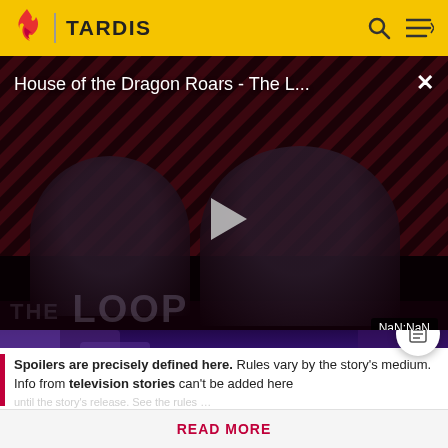TARDIS
[Figure (screenshot): Video player showing 'House of the Dragon Roars - The L...' with a play button overlay, diagonal stripe background, two dark figures, THE LOOP watermark, and NaN:NaN timestamp badge]
[Figure (photo): Purple/blue lit stage set visible below the video player]
Spoilers are precisely defined here. Rules vary by the story's medium. Info from television stories can't be added here
READ MORE